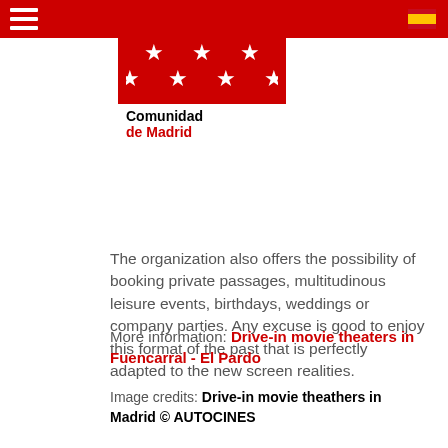[Figure (logo): Comunidad de Madrid logo — red square with five white stars arranged in X pattern, white band below with 'Comunidad de Madrid' text in black and red]
The organization also offers the possibility of booking private passages, multitudinous leisure events, birthdays, weddings or company parties. Any excuse is good to enjoy this format of the past that is perfectly adapted to the new screen realities.
More information: Drive-in movie theaters in Fuencarral - El Pardo
Image credits: Drive-in movie theathers in Madrid © AUTOCINES